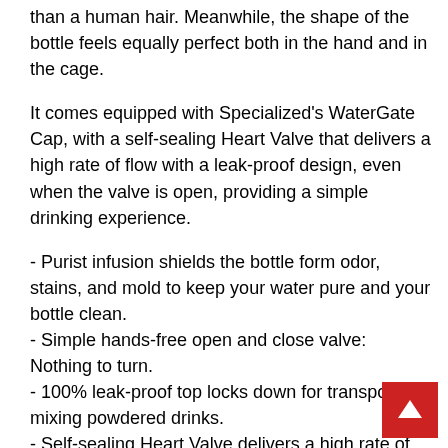than a human hair. Meanwhile, the shape of the bottle feels equally perfect both in the hand and in the cage.
It comes equipped with Specialized's WaterGate Cap, with a self-sealing Heart Valve that delivers a high rate of flow with a leak-proof design, even when the valve is open, providing a simple drinking experience.
- Purist infusion shields the bottle form odor, stains, and mold to keep your water pure and your bottle clean.
- Simple hands-free open and close valve: Nothing to turn.
- 100% leak-proof top locks down for transport or mixing powdered drinks.
- Self-sealing Heart Valve delivers a high rate of flow with a 100% leak-proof design—even when the valve is open.
- Rubber over-molded on the outside of cap for easy, sure grip.
- Made from easy-to-squeeze LDPE material.
- Clear viewing strip makes it easy to see the bottle's contents.